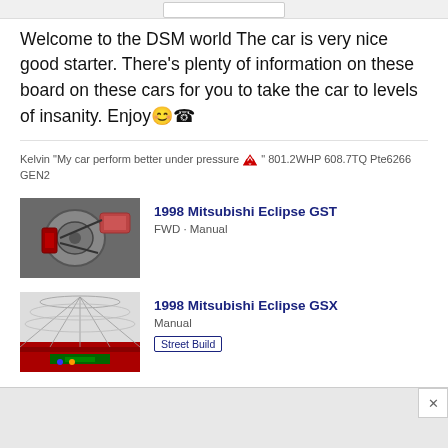Welcome to the DSM world The car is very nice good starter. There's plenty of information on these board on these cars for you to take the car to levels of insanity. Enjoy🙂☎
Kelvin "My car perform better under pressure 🔺" 801.2WHP 608.7TQ Pte6266 GEN2
[Figure (photo): Thumbnail photo of engine parts (turbo/mechanical) for 1998 Mitsubishi Eclipse GST listing]
1998 Mitsubishi Eclipse GST
FWD · Manual
[Figure (photo): Thumbnail photo of a stadium interior for 1998 Mitsubishi Eclipse GSX listing]
1998 Mitsubishi Eclipse GSX
Manual
Street Build